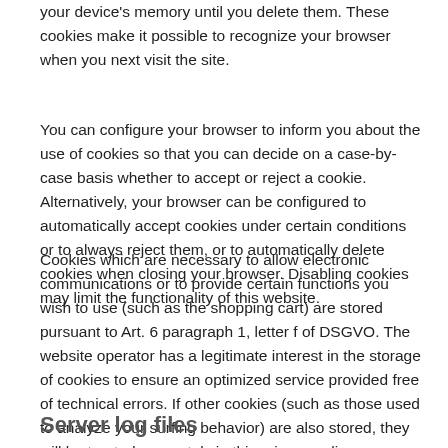your device's memory until you delete them. These cookies make it possible to recognize your browser when you next visit the site.
You can configure your browser to inform you about the use of cookies so that you can decide on a case-by-case basis whether to accept or reject a cookie. Alternatively, your browser can be configured to automatically accept cookies under certain conditions or to always reject them, or to automatically delete cookies when closing your browser. Disabling cookies may limit the functionality of this website.
Cookies which are necessary to allow electronic communications or to provide certain functions you wish to use (such as the shopping cart) are stored pursuant to Art. 6 paragraph 1, letter f of DSGVO. The website operator has a legitimate interest in the storage of cookies to ensure an optimized service provided free of technical errors. If other cookies (such as those used to analyze your surfing behavior) are also stored, they will be treated separately in this privacy policy.
Server log files